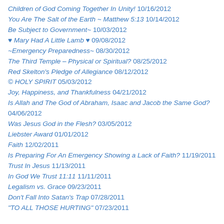Children of God Coming Together In Unity! 10/16/2012
You Are The Salt of the Earth ~ Matthew 5:13 10/14/2012
Be Subject to Government~ 10/03/2012
♥ Mary Had A Little Lamb ♥ 09/08/2012
~Emergency Preparedness~ 08/30/2012
The Third Temple – Physical or Spiritual? 08/25/2012
Red Skelton's Pledge of Allegiance 08/12/2012
© HOLY SPIRIT 05/03/2012
Joy, Happiness, and Thankfulness 04/21/2012
Is Allah and The God of Abraham, Isaac and Jacob the Same God? 04/06/2012
Was Jesus God in the Flesh? 03/05/2012
Liebster Award 01/01/2012
Faith 12/02/2011
Is Preparing For An Emergency Showing a Lack of Faith? 11/19/2011
Trust In Jesus 11/13/2011
In God We Trust 11:11 11/11/2011
Legalism vs. Grace 09/23/2011
Don't Fall Into Satan's Trap 07/28/2011
"TO ALL THOSE HURTING" 07/23/2011